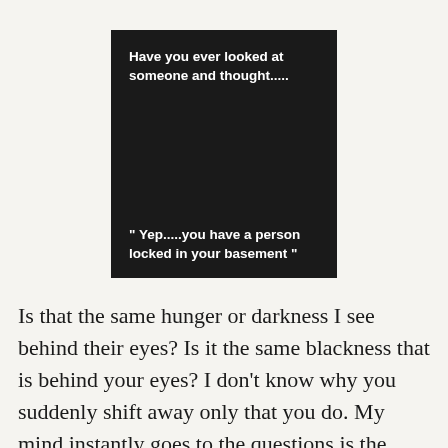[Figure (other): Dark background image card with white bold text. Top portion reads: 'Have you ever looked at someone and thought.....' Bottom portion reads: '" Yep.....you have a person locked in your basement "']
Is that the same hunger or darkness I see behind their eyes? Is it the same blackness that is behind your eyes? I don't know why you suddenly shift away only that you do. My mind instantly goes to the questions is the darkness showing, radiating off me like some twisted negative lighthouse.  Or is it the blankness, the utter soulless look that is in my